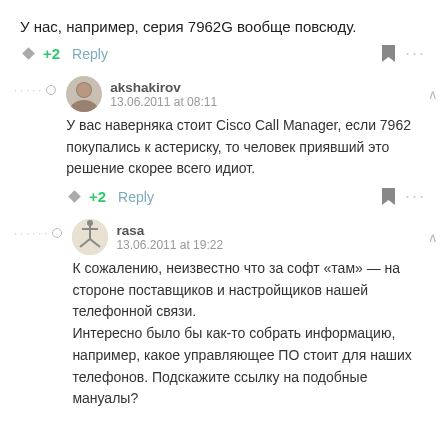У нас, например, серия 7962G вообще повсюду.
+2   Reply
akshakirov
13.06.2011 at 08:11
У вас наверняка стоит Cisco Call Manager, если 7962 покупались к астериску, то человек приявший это решение скорее всего идиот.
+2   Reply
rasa
13.06.2011 at 19:22
К сожалению, неизвестно что за софт «там» — на стороне поставщиков и настройщиков нашей телефонной связи.
Интересно было бы как-то собрать информацию, например, какое управляющее ПО стоит для наших телефонов. Подскажите ссылку на подобные мануалы?